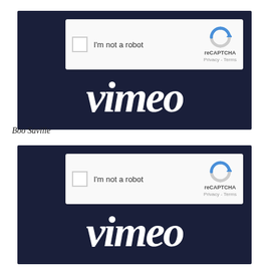[Figure (screenshot): Screenshot of a Vimeo page showing a reCAPTCHA 'I'm not a robot' checkbox widget overlaid on a dark navy background with the Vimeo logo in white italic script below.]
Boo Saville
[Figure (screenshot): Second screenshot of a Vimeo page showing a reCAPTCHA 'I'm not a robot' checkbox widget overlaid on a dark navy background with the Vimeo logo in white italic script below.]